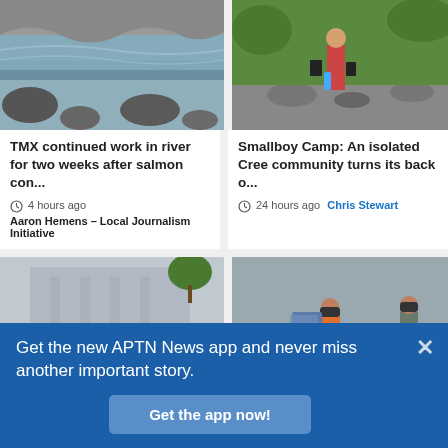[Figure (photo): River scene with rocks and water]
TMX continued work in river for two weeks after salmon con...
4 hours ago  Aaron Hemens – Local Journalism Initiative
[Figure (photo): Child with buckets near rocky stream outdoors]
Smallboy Camp: An isolated Cree community turns its back o...
24 hours ago  Chris Stewart
[Figure (photo): Rows of shoes and belongings on outdoor steps in front of a building]
Manitoba says no
[Figure (photo): Person on ATV on rocky riverbank with another person standing nearby]
Nunavut ends state of
Get the new APTN News app and never miss another important story.
Get the app now!